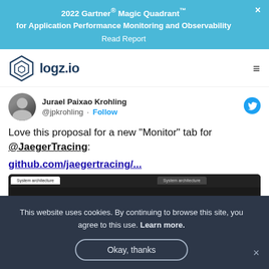2022 Gartner® Magic Quadrant™ for Application Performance Monitoring and Observability
Read Report
[Figure (logo): logz.io logo with hexagonal icon]
Jurael Paixao Krohling
@jpkrohling · Follow
Love this proposal for a new "Monitor" tab for @JaegerTracing:
github.com/jaegertracing/...
[Figure (screenshot): Screenshot of Jaeger UI showing architecture tabs in dark mode]
This website uses cookies. By continuing to browse this site, you agree to this use. Learn more.
Okay, thanks